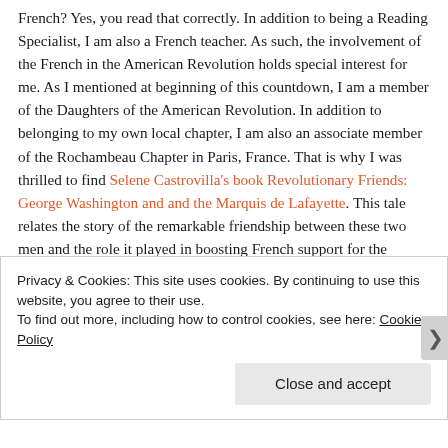French? Yes, you read that correctly. In addition to being a Reading Specialist, I am also a French teacher. As such, the involvement of the French in the American Revolution holds special interest for me. As I mentioned at beginning of this countdown, I am a member of the Daughters of the American Revolution. In addition to belonging to my own local chapter, I am also an associate member of the Rochambeau Chapter in Paris, France. That is why I was thrilled to find Selene Castrovilla's book Revolutionary Friends: George Washington and and the Marquis de Lafayette. This tale relates the story of the remarkable friendship between these two men and the role it played in boosting French support for the patriot cause. Inspired by Lafayette's passion for American independence, the formal alliance between France and the United States was signed on February 6, 1778. It gave the
Privacy & Cookies: This site uses cookies. By continuing to use this website, you agree to their use.
To find out more, including how to control cookies, see here: Cookie Policy